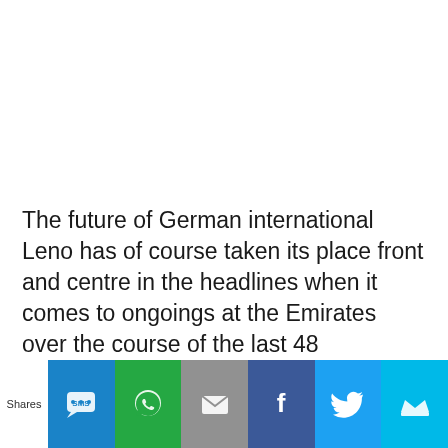The future of German international Leno has of course taken its place front and centre in the headlines when it comes to ongoings at the Emirates over the course of the last 48
[Figure (infographic): Social sharing bar with Shares label and buttons: SMS (blue), WhatsApp (green), Email (grey), Facebook (dark blue), Twitter (light blue), More (cyan)]